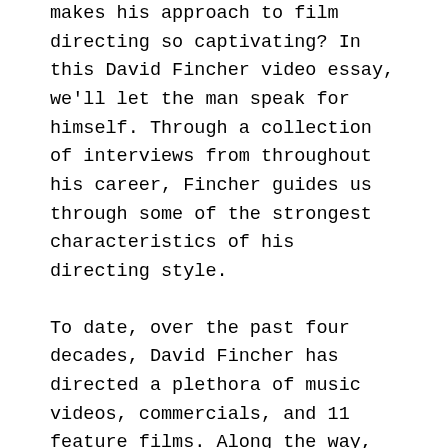makes his approach to film directing so captivating? In this David Fincher video essay, we'll let the man speak for himself. Through a collection of interviews from throughout his career, Fincher guides us through some of the strongest characteristics of his directing style.
To date, over the past four decades, David Fincher has directed a plethora of music videos, commercials, and 11 feature films. Along the way, he has refined his directing style which can be summed up in two words: precise and purposeful. When watching any David Fincher movies, you would be hard-pressed to find an out-of-place camera movement, or a lazy frame composition. One lesson we learned from Fincher is how he balanced and imbalanced the frame during Nick and Amy's first meeting in Gone Girl to show the